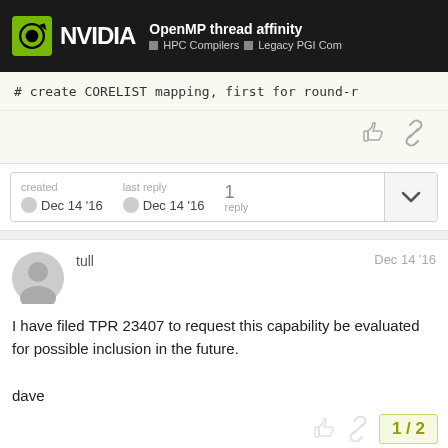OpenMP thread affinity — HPC Compilers — Legacy PGI Com
# create CORELIST mapping, first for round-r
created Dec 14 '16   last reply Dec 14 '16   1 reply
tull   Dec 14 '16

I have filed TPR 23407 to request this capability be evaluated for possible inclusion in the future.

dave
1/2